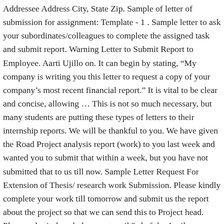Addressee Address City, State Zip. Sample of letter of submission for assignment: Template - 1 . Sample letter to ask your subordinates/colleagues to complete the assigned task and submit report. Warning Letter to Submit Report to Employee. Aarti Ujillo on. It can begin by stating, “My company is writing you this letter to request a copy of your company’s most recent financial report.” It is vital to be clear and concise, allowing … This is not so much necessary, but many students are putting these types of letters to their internship reports. We will be thankful to you. We have given the Road Project analysis report (work) to you last week and wanted you to submit that within a week, but you have not submitted that to us till now. Sample Letter Request For Extension of Thesis/ research work Submission. Please kindly complete your work till tomorrow and submit us the report about the project so that we can send this to Project head. Please submit the whole report until 3rd of the April, otherwise we will disqualify you. Notify me of follow-up comments